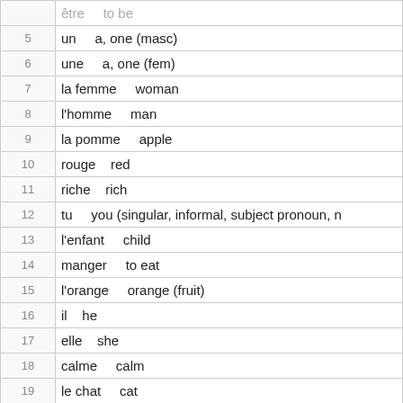| # | Content |
| --- | --- |
|  | être     to be |
| 5 | un     a, one (masc) |
| 6 | une     a, one (fem) |
| 7 | la femme     woman |
| 8 | l'homme     man |
| 9 | la pomme     apple |
| 10 | rouge     red |
| 11 | riche     rich |
| 12 | tu     you (singular, informal, subject pronoun, n |
| 13 | l'enfant     child |
| 14 | manger     to eat |
| 15 | l'orange     orange (fruit) |
| 16 | il     he |
| 17 | elle     she |
| 18 | calme     calm |
| 19 | le chat     cat |
| 20 | noir     black |
| 21 | la robe     dress |
| 22 | et     and |
| 23 | *** Basics 2 (/course/322153/complete-duolingo |
| 24 | nous     we |
| 25 | aimer     to like |